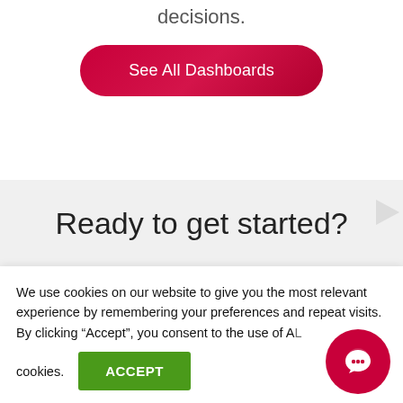decisions.
See All Dashboards
Ready to get started?
Start your 14-day free trial and
We use cookies on our website to give you the most relevant experience by remembering your preferences and repeat visits. By clicking “Accept”, you consent to the use of ALL cookies.
ACCEPT